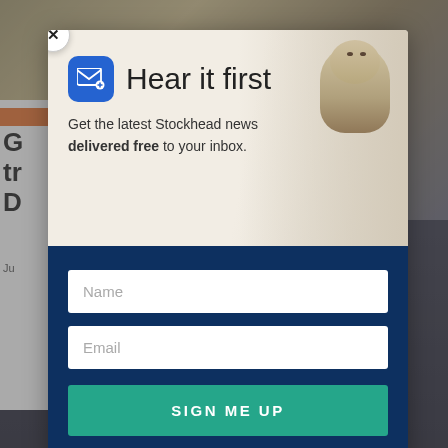[Figure (screenshot): Background of a website page showing a partially visible article with an orange category label, bold text starting with letters 'G', 'tr', 'D', and a date starting with 'Ju'. The background also shows a dark photo at the bottom.]
[Figure (infographic): Email newsletter signup modal popup. Contains a close button (X) at top left, an email icon with plus sign on blue rounded square background, large heading 'Hear it first', subtitle 'Get the latest Stockhead news delivered free to your inbox.', a groundhog/marmot animal visible in the top-right background area. Below in a dark navy section: Name input field, Email input field, and a teal 'SIGN ME UP' button.]
Hear it first
Get the latest Stockhead news delivered free to your inbox.